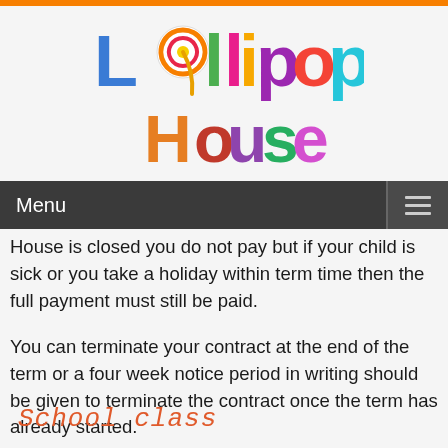[Figure (logo): Lollipop House colorful logo with lollipop graphics and multi-colored lettering]
Menu
House is closed you do not pay but if your child is sick or you take a holiday within term time then the full payment must still be paid.
You can terminate your contract at the end of the term or a four week notice period in writing should be given to terminate the contract once the term has already started.
School class